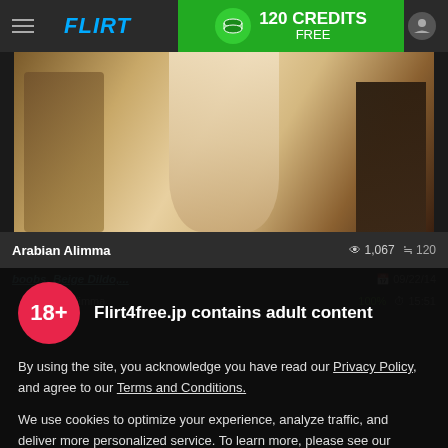FLIRT4FREE — 120 CREDITS FREE
[Figure (screenshot): Video thumbnail showing a live cam stream background]
Arabian Alimma   👁 1,067   💳 120
boobs, Beige Dildo,...   09/22/14
limma   100%   © 15:51
Flirt4free.jp contains adult content
By using the site, you acknowledge you have read our Privacy Policy, and agree to our Terms and Conditions.
We use cookies to optimize your experience, analyze traffic, and deliver more personalized service. To learn more, please see our Privacy Policy.
I AGREE